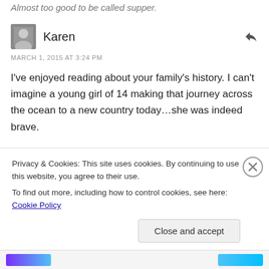Almost too good to be called supper.
Karen
MARCH 1, 2015 AT 3:24 PM
I've enjoyed reading about your family's history. I can't imagine a young girl of 14 making that journey across the ocean to a new country today...she was indeed brave.
tableofcolors
Privacy & Cookies: This site uses cookies. By continuing to use this website, you agree to their use.
To find out more, including how to control cookies, see here: Cookie Policy
Close and accept